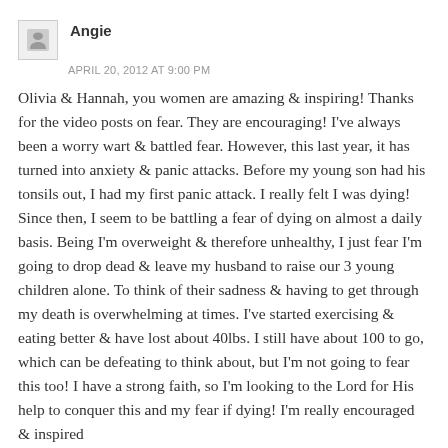Angie
APRIL 20, 2012 AT 9:00 PM
Olivia & Hannah, you women are amazing & inspiring! Thanks for the video posts on fear. They are encouraging! I've always been a worry wart & battled fear. However, this last year, it has turned into anxiety & panic attacks. Before my young son had his tonsils out, I had my first panic attack. I really felt I was dying! Since then, I seem to be battling a fear of dying on almost a daily basis. Being I'm overweight & therefore unhealthy, I just fear I'm going to drop dead & leave my husband to raise our 3 young children alone. To think of their sadness & having to get through my death is overwhelming at times. I've started exercising & eating better & have lost about 40lbs. I still have about 100 to go, which can be defeating to think about, but I'm not going to fear this too! I have a strong faith, so I'm looking to the Lord for His help to conquer this and my fear if dying! I'm really encouraged & inspired